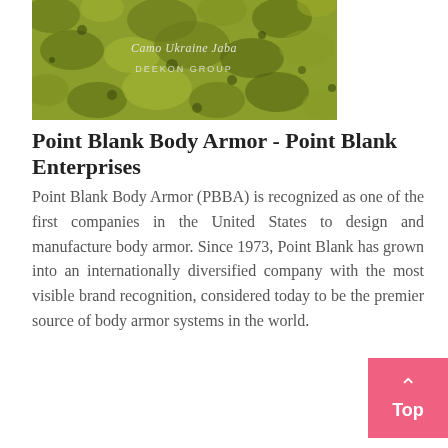[Figure (photo): Camouflage fabric texture in green/olive tones with text overlay reading 'Camo Ukraine Jaba' and 'DEEKON GROUP']
Point Blank Body Armor - Point Blank Enterprises
Point Blank Body Armor (PBBA) is recognized as one of the first companies in the United States to design and manufacture body armor. Since 1973, Point Blank has grown into an internationally diversified company with the most visible brand recognition, considered today to be the premier source of body armor systems in the world.